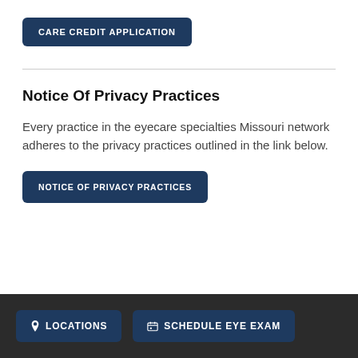[Figure (other): Button labeled CARE CREDIT APPLICATION in dark navy with white uppercase text]
Notice Of Privacy Practices
Every practice in the eyecare specialties Missouri network adheres to the privacy practices outlined in the link below.
[Figure (other): Button labeled NOTICE OF PRIVACY PRACTICES in dark navy with white uppercase text]
LOCATIONS  SCHEDULE EYE EXAM